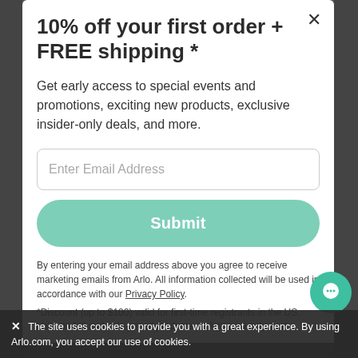10% off your first order + FREE shipping *
Get early access to special events and promotions, exciting new products, exclusive insider-only deals, and more.
Enter Email Address
Submit
By entering your email address above you agree to receive marketing emails from Arlo. All information collected will be used in accordance with our Privacy Policy.
*Discount (up to $100) valid for first-time registrants in the US. Valid on full and sale priced products on Arlo.com only, and
✕   The site uses cookies to provide you with a great experience. By using Arlo.com, you accept our use of cookies.